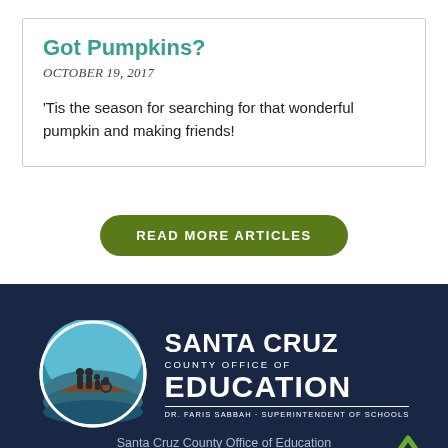Got Pumpkins?
OCTOBER 19, 2017
'Tis the season for searching for that wonderful pumpkin and making friends!
READ MORE ARTICLES
[Figure (logo): Santa Cruz County Office of Education logo: circular emblem with silhouettes of people on a hill and teal/blue landscape, next to the organization name text and 'DR. FARIS SABBAH · SUPERINTENDENT OF SCHOOLS']
Santa Cruz County Office of Education